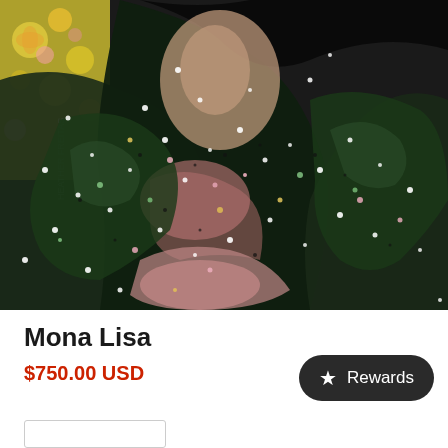[Figure (illustration): A close-up painting of a Mona Lisa reinterpretation with dark tones, sparkly dots/rhinestones scattered throughout, pink and dark green areas, with floral background visible in upper left. Artist watermark 'HEATHER FREITAS' visible on left side.]
Mona Lisa
$750.00 USD